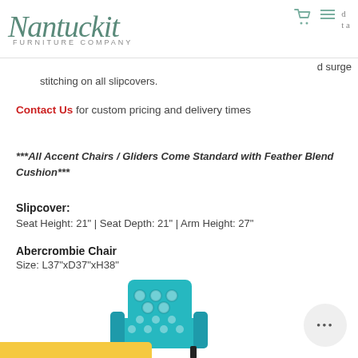Nantuckit FURNITURE COMPANY
d surge stitching on all slipcovers.
Contact Us for custom pricing and delivery times
***All Accent Chairs / Gliders Come Standard with Feather Blend Cushion***
Slipcover:
Seat Height: 21" | Seat Depth: 21" | Arm Height: 27"
Abercrombie Chair
Size: L37"xD37"xH38"
[Figure (photo): A teal/turquoise patterned accent chair with geometric circle pattern slipcover]